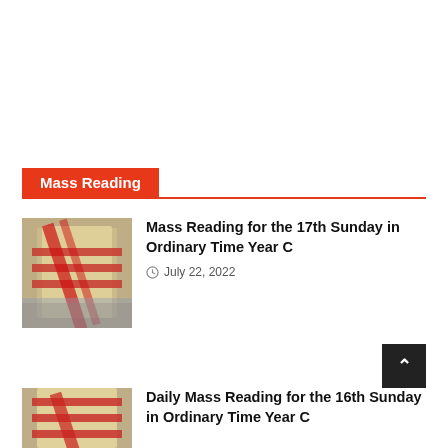Mass Reading
[Figure (photo): Books with red ribbon/bookmark, likely a liturgical lectionary or missal]
Mass Reading for the 17th Sunday in Ordinary Time Year C
July 22, 2022
[Figure (photo): Books with red ribbon/bookmark, partially visible]
Daily Mass Reading for the 16th Sunday in Ordinary Time Year C